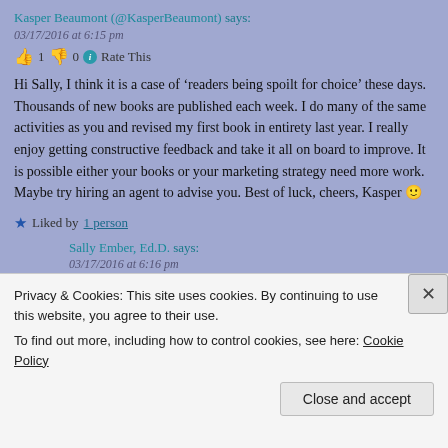Kasper Beaumont (@KasperBeaumont) says:
03/17/2016 at 6:15 pm
👍 1 👎 0 ℹ Rate This
Hi Sally, I think it is a case of 'readers being spoilt for choice' these days. Thousands of new books are published each week. I do many of the same activities as you and revised my first book in entirety last year. I really enjoy getting constructive feedback and take it all on board to improve. It is possible either your books or your marketing strategy need more work. Maybe try hiring an agent to advise you. Best of luck, cheers, Kasper 🙂
★ Liked by 1 person
Sally Ember, Ed.D. says:
03/17/2016 at 6:16 pm
👍 0 👎 0 ℹ Rate This
Privacy & Cookies: This site uses cookies. By continuing to use this website, you agree to their use.
To find out more, including how to control cookies, see here: Cookie Policy
Close and accept